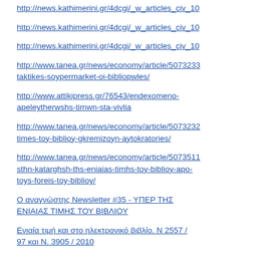http://news.kathimerini.gr/4dcgi/_w_articles_civ_10
http://news.kathimerini.gr/4dcgi/_w_articles_civ_10
http://news.kathimerini.gr/4dcgi/_w_articles_civ_10
http://www.tanea.gr/news/economy/article/5073233 taktikes-soypermarket-oi-bibliopwles/
http://www.attikipress.gr/76543/endexomeno-apeleytherwshs-timwn-sta-vivlia
http://www.tanea.gr/news/economy/article/5073232 times-toy-biblioy-gkremizoyn-aytokratories/
http://www.tanea.gr/news/economy/article/5073511 sthn-katarghsh-ths-eniaias-timhs-toy-biblioy-apo-toys-foreis-toy-biblioy/
Ο αναγνώστης Newsletter #35 - ΥΠΕΡ ΤΗΣ ΕΝΙΑΙΑΣ ΤΙΜΗΣ ΤΟΥ ΒΙΒΛΙΟΥ
Ενιαία τιμή και στο ηλεκτρονικό βιβλίο. Ν 2557 / 97 και Ν. 3905 / 2010